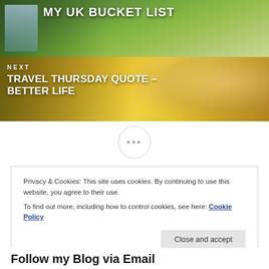[Figure (photo): Green park scene with fountain, previous article image with title 'MY UK BUCKET LIST']
MY UK BUCKET LIST
[Figure (photo): Woman smiling in yellow flower field with hat and sunglasses, next article image]
NEXT
TRAVEL THURSDAY QUOTE – BETTER LIFE
•••
Privacy & Cookies: This site uses cookies. By continuing to use this website, you agree to their use.
To find out more, including how to control cookies, see here: Cookie Policy
Close and accept
Follow my Blog via Email